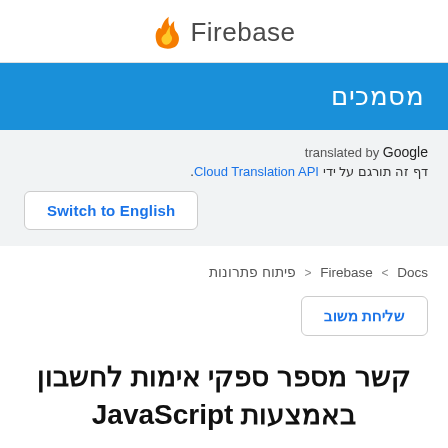Firebase
מסמכים
translated by Google
דף זה תורגם על ידי Cloud Translation API.
Switch to English
Firebase < Docs < פיתוח פתרונות
שליחת משוב
קשר מספר ספקי אימות לחשבון באמצעות JavaScript